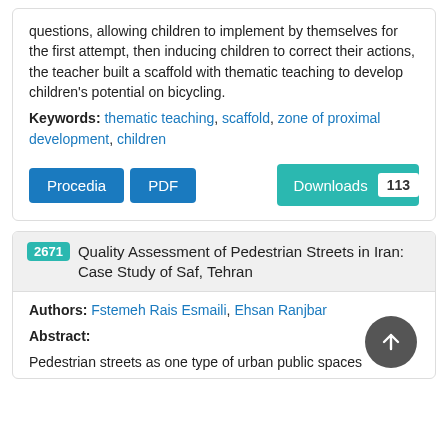questions, allowing children to implement by themselves for the first attempt, then inducing children to correct their actions, the teacher built a scaffold with thematic teaching to develop children's potential on bicycling.
Keywords: thematic teaching, scaffold, zone of proximal development, children
Procedia | PDF | Downloads 113
2671 Quality Assessment of Pedestrian Streets in Iran: Case Study of Saf, Tehran
Authors: Fstemeh Rais Esmaili, Ehsan Ranjbar
Abstract:
Pedestrian streets as one type of urban public spaces